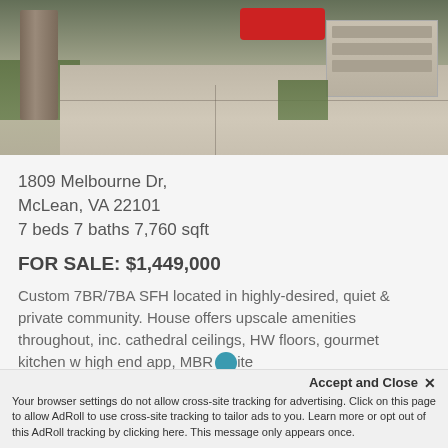[Figure (photo): Exterior photo of a residential property at 1809 Melbourne Dr, McLean VA — showing a wide concrete driveway leading to a two-car garage, stone pillar entrance on the left, lawn and shrubs visible, taken in winter/early spring.]
1809 Melbourne Dr,
McLean, VA 22101
7 beds 7 baths 7,760 sqft
FOR SALE: $1,449,000
Custom 7BR/7BA SFH located in highly-desired, quiet & private community. House offers upscale amenities throughout, inc. cathedral ceilings, HW floors, gourmet kitchen w high end app, MBR suite
Accept and Close ✕
Your browser settings do not allow cross-site tracking for advertising. Click on this page to allow AdRoll to use cross-site tracking to tailor ads to you. Learn more or opt out of this AdRoll tracking by clicking here. This message only appears once.